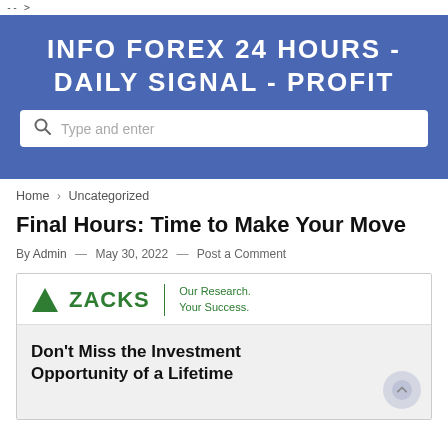-- >
INFO FOREX 24 HOURS - DAILY SIGNAL - PROFIT
Type and enter
Home › Uncategorized
Final Hours: Time to Make Your Move
By Admin — May 30, 2022 — Post a Comment
[Figure (logo): Zacks logo with green triangle, ZACKS text, and tagline 'Our Research. Your Success.']
Don't Miss the Investment Opportunity of a Lifetime